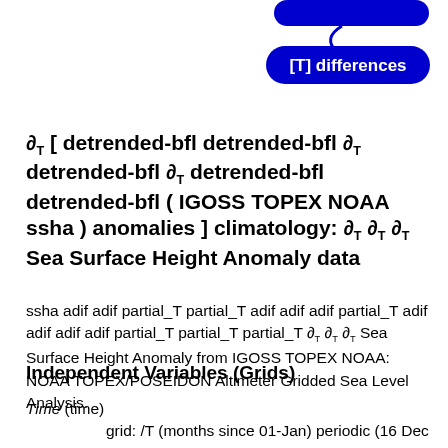[Figure (other): Blue rounded pill/button UI element at top right with label '[T] differences']
∂T [ detrended-bfl detrended-bfl ∂T detrended-bfl ∂T detrended-bfl detrended-bfl ( IGOSS TOPEX NOAA ssha ) anomalies ] climatology: ∂T ∂T ∂T Sea Surface Height Anomaly data
ssha adif adif partial_T partial_T adif adif adif partial_T adif adif adif adif partial_T partial_T partial_T ∂T ∂T ∂T Sea Surface Height Anomaly from IGOSS TOPEX NOAA: NOAA TOPEX/POSEIDON Altimeter Gridded Sea Level Analysis.
Independent Variables (Grids)
Time (time)
    grid: /T (months since 01-Jan) periodic (16 Dec - 15 Jan) to (16 Nov - 15 Dec) by 1.0 N= 12 pts :grid